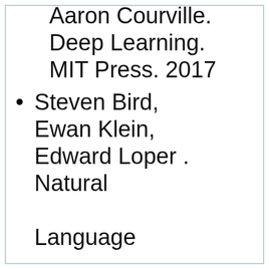Aaron Courville. Deep Learning. MIT Press. 2017
Steven Bird, Ewan Klein, Edward Loper . Natural Language